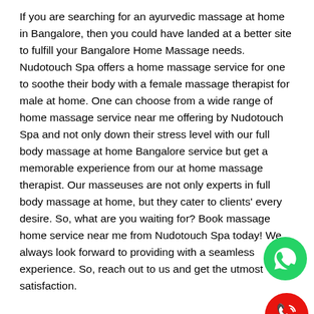If you are searching for an ayurvedic massage at home in Bangalore, then you could have landed at a better site to fulfill your Bangalore Home Massage needs. Nudotouch Spa offers a home massage service for one to soothe their body with a female massage therapist for male at home. One can choose from a wide range of home massage service near me offering by Nudotouch Spa and not only down their stress level with our full body massage at home Bangalore service but get a memorable experience from our at home massage therapist. Our masseuses are not only experts in full body massage at home, but they cater to clients' every desire. So, what are you waiting for? Book massage home service near me from Nudotouch Spa today! We always look forward to providing with a seamless experience. So, reach out to us and get the utmost satisfaction.
[Figure (illustration): WhatsApp green phone icon]
[Figure (illustration): Red telephone receiver icon with signal waves]